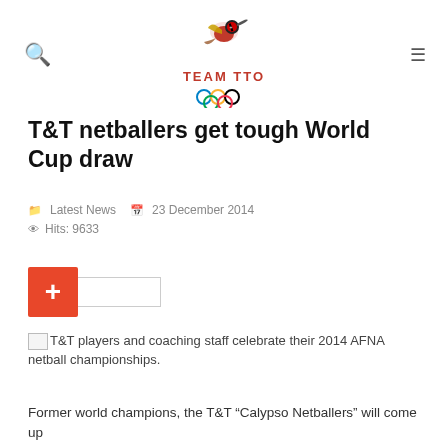TEAM TTO (logo with Olympic rings)
T&T netballers get tough World Cup draw
Latest News  23 December 2014
Hits: 9633
[Figure (other): Share/plus button UI element with red plus square and input box]
T&T players and coaching staff celebrate their 2014 AFNA netball championships.
Former world champions, the T&T "Calypso Netballers" will come up